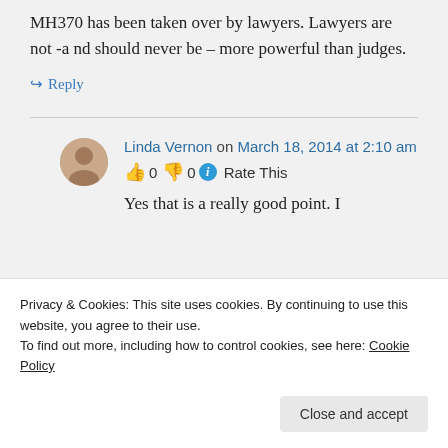MH370 has been taken over by lawyers. Lawyers are not -a nd should never be – more powerful than judges.
↪ Reply
Linda Vernon on March 18, 2014 at 2:10 am
👍 0 👎 0 ℹ Rate This
Yes that is a really good point. I
Privacy & Cookies: This site uses cookies. By continuing to use this website, you agree to their use.
To find out more, including how to control cookies, see here: Cookie Policy
Close and accept